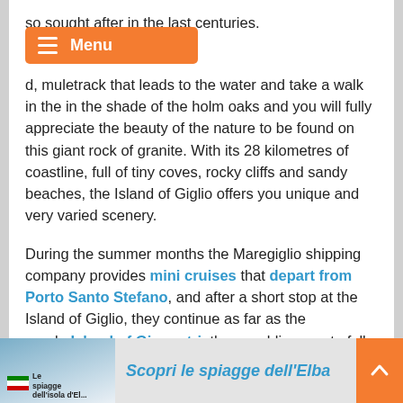so sought after in the last centuries.
[Figure (screenshot): Orange navigation menu bar with hamburger icon and 'Menu' text]
…muletrack that leads to the water and take a walk in the in the shade of the holm oaks and you will fully appreciate the beauty of the nature to be found on this giant rock of granite. With its 28 kilometres of coastline, full of tiny coves, rocky cliffs and sandy beaches, the Island of Giglio offers you unique and very varied scenery.
During the summer months the Maregiglio shipping company provides mini cruises that depart from Porto Santo Stefano, and after a short stop at the Island of Giglio, they continue as far as the nearbyIsland of Giannutri, thus enabling you to fully appreciate the breathtaking beauty of both islands all in one day.
[Figure (screenshot): Banner advertisement: book image on left, title 'Scopri le spiagge dell'Elba' in blue italic, back-to-top orange button on right]